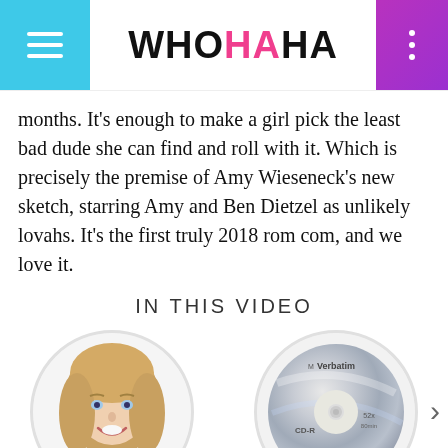WHOHAHA
months. It's enough to make a girl pick the least bad dude she can find and roll with it. Which is precisely the premise of Amy Wieseneck's new sketch, starring Amy and Ben Dietzel as unlikely lovahs. It's the first truly 2018 rom com, and we love it.
IN THIS VIDEO
[Figure (photo): Circular portrait photo of Amy Wieseneck, a blonde woman smiling]
AMY WIESENECK
[Figure (photo): Circular image of a Verbatim CD-R disc]
HE'S AN AMATEUR RAPPER!